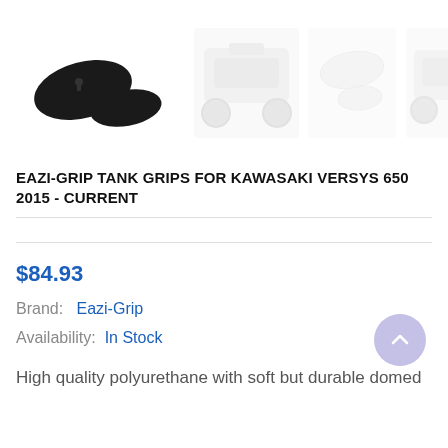[Figure (photo): Four product thumbnail images of Eazi-Grip tank grips. First image shows two black grip pads. Second and third images show the grips installed on a white/silver Kawasaki Versys 650 motorcycle. Fourth image shows clear/transparent grip pads and another motorcycle installation view.]
EAZI-GRIP TANK GRIPS FOR KAWASAKI VERSYS 650 2015 - CURRENT
$84.93
Brand: Eazi-Grip
Availability: In Stock
High quality polyurethane with soft but durable domed